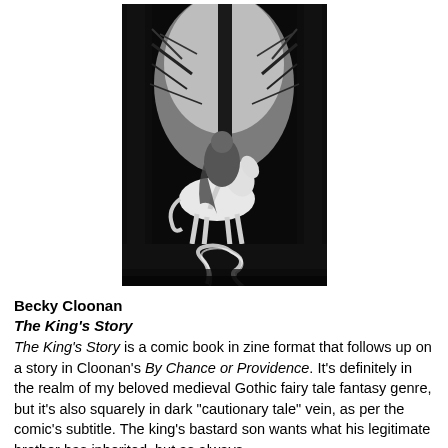[Figure (illustration): Black and white illustration of a knight or rider on a white horse moving through a dark forest with bare trees. A winding path or stream glows in the foreground.]
Becky Cloonan
The King's Story
The King's Story is a comic book in zine format that follows up on a story in Cloonan's By Chance or Providence. It's definitely in the realm of my beloved medieval Gothic fairy tale fantasy genre, but it's also squarely in dark "cautionary tale" vein, as per the comic's subtitle. The king's bastard son wants what his legitimate brother has inherited, but as always